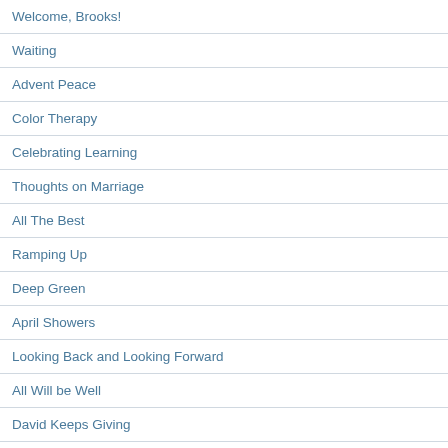Welcome, Brooks!
Waiting
Advent Peace
Color Therapy
Celebrating Learning
Thoughts on Marriage
All The Best
Ramping Up
Deep Green
April Showers
Looking Back and Looking Forward
All Will be Well
David Keeps Giving